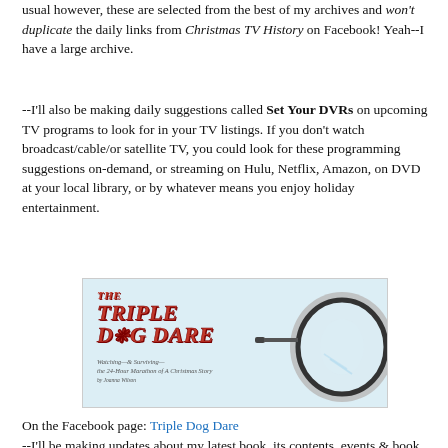usual however, these are selected from the best of my archives and won't duplicate the daily links from Christmas TV History on Facebook! Yeah--I have a large archive.
--I'll also be making daily suggestions called Set Your DVRs on upcoming TV programs to look for in your TV listings. If you don't watch broadcast/cable/or satellite TV, you could look for these programming suggestions on-demand, or streaming on Hulu, Netflix, Amazon, on DVD at your local library, or by whatever means you enjoy holiday entertainment.
[Figure (illustration): Book cover for 'The Triple Dog Dare' by Joanna Wilson, showing the title in red italic script with a pair of rimless glasses on a light blue background, and subtitle text reading 'Watching—& Surviving— the 24-Hour Marathon of A Christmas Story']
On the Facebook page: Triple Dog Dare
--I'll be making updates about my latest book, its contents, events & book signings, and more.